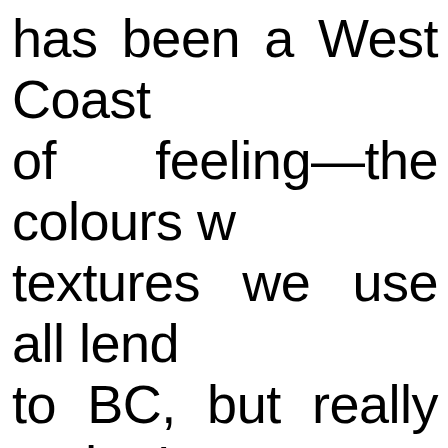has been a West Coast of feeling—the colours w textures we use all lend to BC, but really to the ' at the same time. Whe walk in, your immediate is 'not what I expecte cannabis store.' It's nice colours; it allows you to